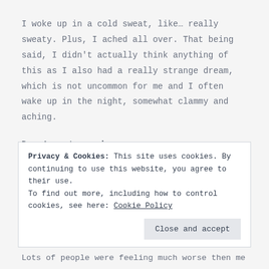I woke up in a cold sweat, like… really sweaty. Plus, I ached all over. That being said, I didn't actually think anything of this as I also had a really strange dream, which is not uncommon for me and I often wake up in the night, somewhat clammy and aching.
Day 1 post vaccine
After that fairly disturbed nights sleep, I got ready for work. Group chats on WhatsApp
Privacy & Cookies: This site uses cookies. By continuing to use this website, you agree to their use.
To find out more, including how to control cookies, see here: Cookie Policy
Lots of people were feeling much worse then me